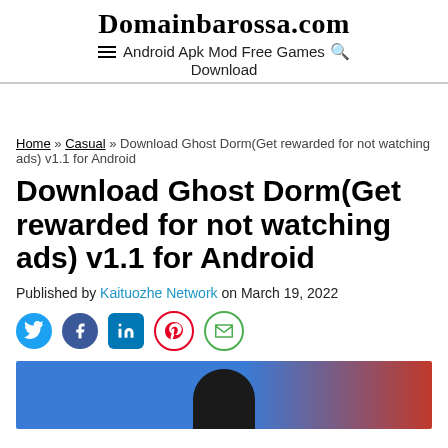Domainbarossa.com — Android Apk Mod Free Games Download
Home » Casual » Download Ghost Dorm(Get rewarded for not watching ads) v1.1 for Android
Download Ghost Dorm(Get rewarded for not watching ads) v1.1 for Android
Published by Kaituozhe Network on March 19, 2022
[Figure (other): Social sharing icons: Twitter, Facebook, LinkedIn, Pinterest, Email]
[Figure (photo): Article header image showing a person's silhouette/head against a blue and red background]